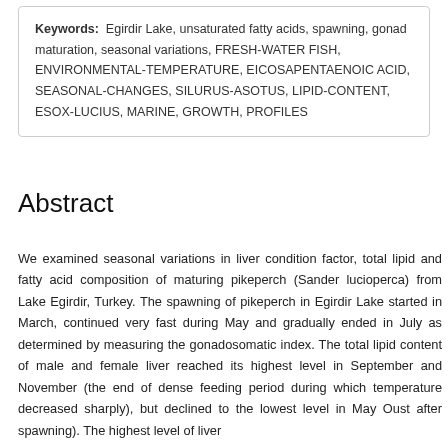Keywords: Egirdir Lake, unsaturated fatty acids, spawning, gonad maturation, seasonal variations, FRESH-WATER FISH, ENVIRONMENTAL-TEMPERATURE, EICOSAPENTAENOIC ACID, SEASONAL-CHANGES, SILURUS-ASOTUS, LIPID-CONTENT, ESOX-LUCIUS, MARINE, GROWTH, PROFILES
Abstract
We examined seasonal variations in liver condition factor, total lipid and fatty acid composition of maturing pikeperch (Sander lucioperca) from Lake Egirdir, Turkey. The spawning of pikeperch in Egirdir Lake started in March, continued very fast during May and gradually ended in July as determined by measuring the gonadosomatic index. The total lipid content of male and female liver reached its highest level in September and November (the end of dense feeding period during which temperature decreased sharply), but declined to the lowest level in May Oust after spawning). The highest level of liver